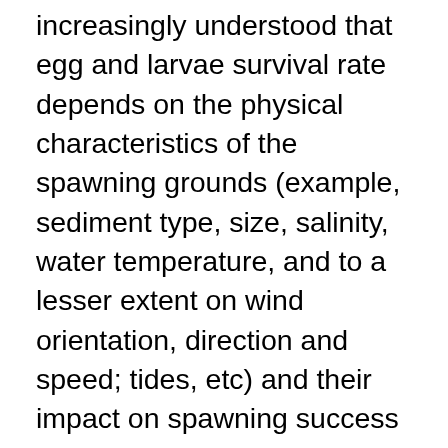increasingly understood that egg and larvae survival rate depends on the physical characteristics of the spawning grounds (example, sediment type, size, salinity, water temperature, and to a lesser extent on wind orientation, direction and speed; tides, etc) and their impact on spawning success (recruitment). Research on the effect of beach choice and beach characteristics have been examined in Newfoundland-Labrador region (NAFO Div. 3L) and research has begun on this question on the north coast of the St. Lawrence. This knowledge is important as